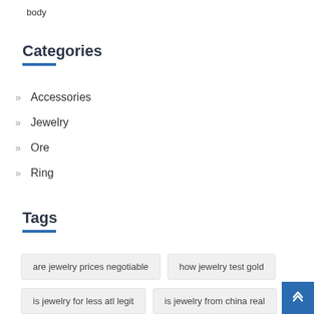body
Categories
Accessories
Jewelry
Ore
Ring
Tags
are jewelry prices negotiable
how jewelry test gold
is jewelry for less atl legit
is jewelry from china real
is jewelry magnetic
jewelry 3d printing